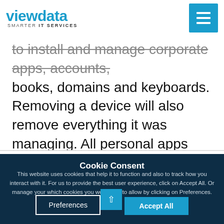viewdata SMARTER IT SERVICES
to install and manage corporate apps, accounts, books, domains and keyboards. Removing a device will also remove everything it was managing. All personal apps and data will remain private.
Cookie Consent
This website uses cookies that help it to function and also to track how you interact with it. For us to provide the best user experience, click on Accept All. Or manage your which cookies you would like to allow by clicking on Preferences. Privacy Policy
Preferences
Accept All